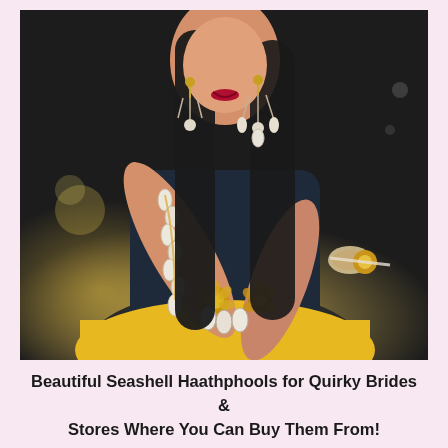[Figure (photo): A young woman wearing shell/seashell haathphool (hand jewelry) with floral gold rings and cowrie shell bracelets extending up the arm, gold floral arm band, and matching chandelier earrings with cowrie shells and pearls. She is wearing a dark blue/navy sleeveless top and a yellow outfit. Her hands are clasped together displaying the jewelry. Background is warm bokeh with golden light.]
Beautiful Seashell Haathphools for Quirky Brides & Stores Where You Can Buy Them From!